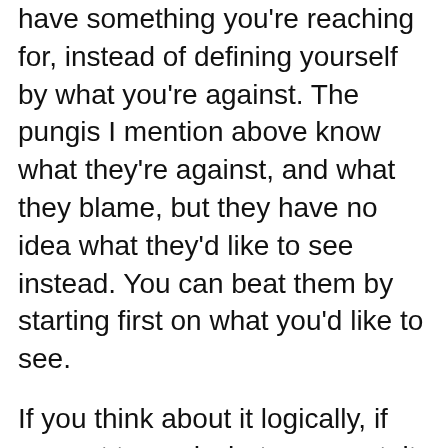have something you're reaching for, instead of defining yourself by what you're against. The pungis I mention above know what they're against, and what they blame, but they have no idea what they'd like to see instead. You can beat them by starting first on what you'd like to see.
If you think about it logically, if you act toward what you want, it will be like the species of more successful birds that drives others out of a valley simply by having too many members for others to have any room. You want to populate the world with things that work better, ideas that are smarter,